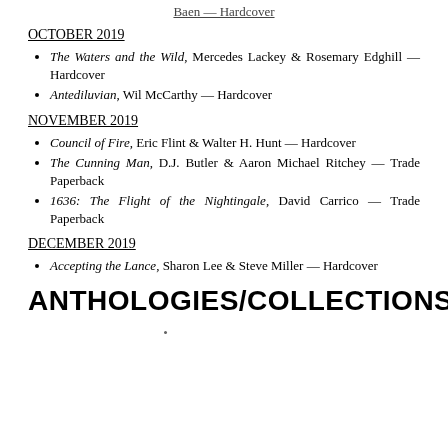Baen — Hardcover
OCTOBER 2019
The Waters and the Wild, Mercedes Lackey & Rosemary Edghill — Hardcover
Antediluvian, Wil McCarthy — Hardcover
NOVEMBER 2019
Council of Fire, Eric Flint & Walter H. Hunt — Hardcover
The Cunning Man, D.J. Butler & Aaron Michael Ritchey — Trade Paperback
1636: The Flight of the Nightingale, David Carrico — Trade Paperback
DECEMBER 2019
Accepting the Lance, Sharon Lee & Steve Miller — Hardcover
ANTHOLOGIES/COLLECTIONS
...